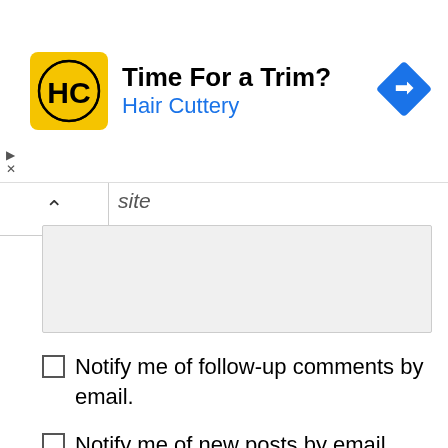[Figure (infographic): Advertisement banner for Hair Cuttery with yellow HC logo, 'Time For a Trim?' headline, blue 'Hair Cuttery' subtitle, and a blue diamond navigation arrow icon on the right.]
site
Notify me of follow-up comments by email.
Notify me of new posts by email.
POST COMMENT
This site uses Akismet to reduce spam. Learn how your comment data is processed.